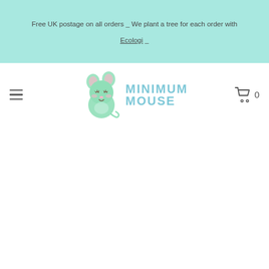Free UK postage on all orders _ We plant a tree for each order with Ecologi _
[Figure (logo): Minimum Mouse logo: a cute green cartoon mouse illustration alongside the text MINIMUM MOUSE in blue letters]
0